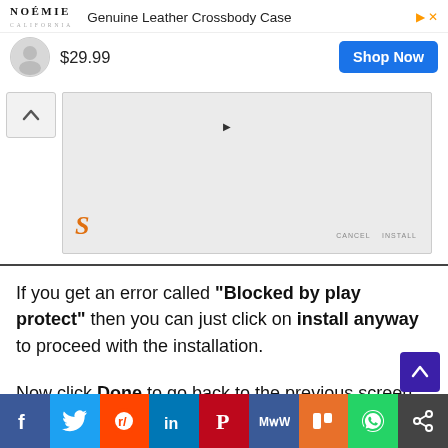[Figure (screenshot): Advertisement banner for NOÉMIE Genuine Leather Crossbody Case - Round Pouch BRENTWOOD White-Black priced at $29.99 with Shop Now button]
[Figure (screenshot): Screenshot of a mobile app install dialog with a light gray content area, orange S logo (Sacramento Bee or similar), and CANCEL/INSTALL buttons. A cursor arrow is visible in the content area.]
If you get an error called "Blocked by play protect" then you can just click on install anyway to proceed with the installation.
Now click Done to go back to the previous screen
[Figure (infographic): Social media sharing bar with icons: Facebook (blue), Twitter (cyan/blue), Reddit (orange), LinkedIn (dark blue), Pinterest (red), MeWe (blue), Mix (red-orange), WhatsApp (green), Share (dark gray)]